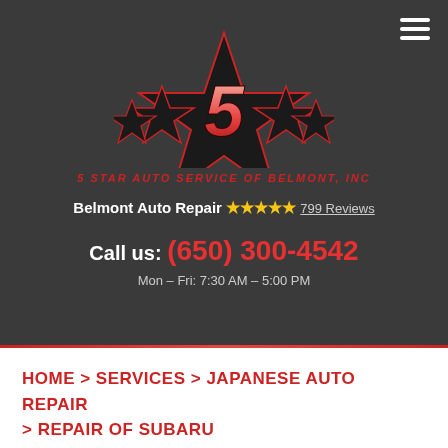[Figure (logo): 5 Star Auto Service of Belmont, Inc logo — a large red '5' in a black star shape surrounded by four smaller stars, with the company name below in red italic letters]
Belmont Auto Repair ★★★★★ 799 Reviews
Call us: (650) 300-4542
Mon – Fri: 7:30 AM – 5:00 PM
HOME > SERVICES > JAPANESE AUTO REPAIR > REPAIR OF SUBARU